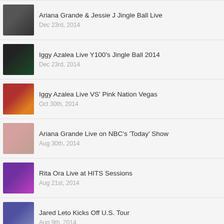Ariana Grande & Jessie J Jingle Ball Live
Dec 23rd, 2014
Iggy Azalea Live Y100's Jingle Ball 2014
Dec 23rd, 2014
Iggy Azalea Live VS' Pink Nation Vegas
Oct 30th, 2014
Ariana Grande Live on NBC's 'Today' Show
Aug 30th, 2014
Rita Ora Live at HITS Sessions
Aug 21st, 2014
Jared Leto Kicks Off U.S. Tour
Aug 9th, 2014
Jennifer Lopez GMA Stage
Jun 21st, 2014